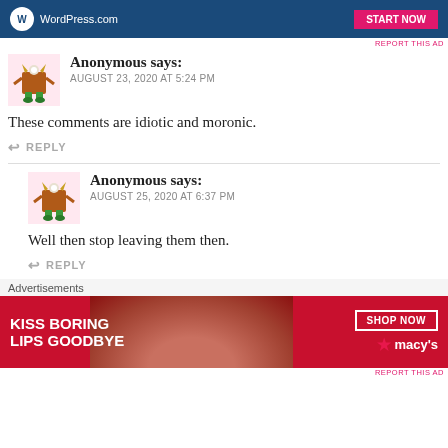[Figure (screenshot): Top advertisement banner with blue background, WordPress.com logo and a pink/red button]
REPORT THIS AD
Anonymous says:
AUGUST 23, 2020 AT 5:24 PM
These comments are idiotic and moronic.
↩ REPLY
Anonymous says:
AUGUST 25, 2020 AT 6:37 PM
Well then stop leaving them then.
↩ REPLY
Advertisements
[Figure (photo): Macy's advertisement banner: KISS BORING LIPS GOODBYE with woman's lips photo and SHOP NOW button with Macy's star logo]
REPORT THIS AD